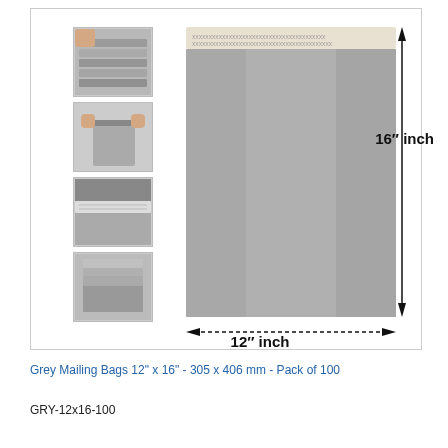[Figure (photo): Product image of grey mailing/poly bags. Left column shows 4 thumbnail photos of the grey bags from different angles. Main center image shows a single grey mailing bag with dimension arrows indicating 12 inch width and 16 inch height.]
16″ inch
12″ inch
Grey Mailing Bags 12" x 16" - 305 x 406 mm - Pack of 100
GRY-12x16-100